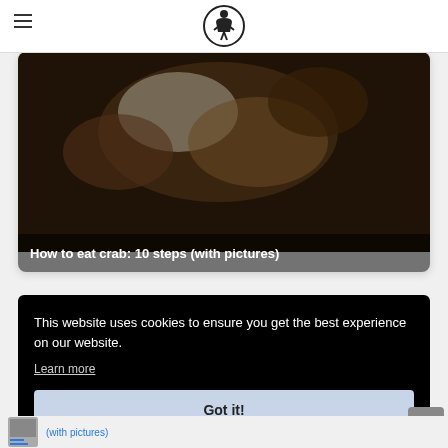WikiHow logo header with hamburger menu
[Figure (photo): Crab food image with dark overlay and text: How to eat crab: 10 steps (with pictures)]
How to eat crab: 10 steps (with pictures)
This website uses cookies to ensure you get the best experience on our website.
Learn more
Got it!
(with pictures)